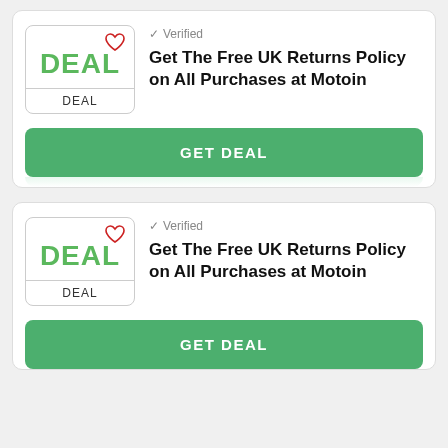[Figure (screenshot): Deal card 1: Shows a DEAL badge with heart icon, verified checkmark, title 'Get The Free UK Returns Policy on All Purchases at Motoin', and a green GET DEAL button.]
[Figure (screenshot): Deal card 2: Shows a DEAL badge with heart icon, verified checkmark, title 'Get The Free UK Returns Policy on All Purchases at Motoin', and a green GET DEAL button (partially cut off).]